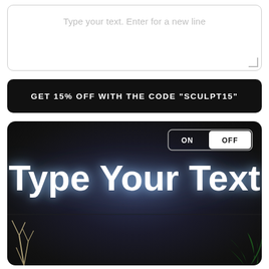Type your text. Enter for a new line
GET 15% OFF WITH THE CODE "SCULPT15"
[Figure (photo): Dark room preview showing neon sign text 'Type Your Text' glowing in blue-white light on a dark wall, with ON/OFF toggle button in top right, decorative plants at bottom corners]
ON OFF
Type Your Text